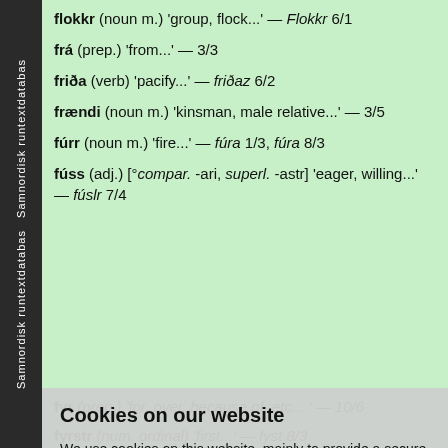Samnordisk runtextdatabas Samnordisk runtextdatabas
flokkr (noun m.) 'group, flock...' — Flokkr 6/1
frá (prep.) 'from...' — 3/3
friða (verb) 'pacify...' — friðaz 6/2
frændi (noun m.) 'kinsman, male relative...' — 3/5
fúrr (noun m.) 'fire...' — fúra 1/3, fúra 8/3
fúss (adj.) [°compar. -ari, superl. -astr] 'eager, willing...' — fúslr 7/4
fyr (prep.) 'for, over, because of, etc....' — 10/6
fyrstr (num. ordinal) 'first...' — fyst 8/3
fýsa (verb) 'desire, encourage...' —
Cookies on our website
We use cookies on this website, mainly to provide a secure browsing experience but also to collect statistics on how the website is used. You can find out more about the cookies we set, the information we store and how we use it on the cookies page.
ganga (verb) 'fend, gekk, gengu, genginn'; gaak 06; gekk 2/1, gekk 1/8
gauti (noun m.) 'man, Geat...' — Gautar 6/7; Gautum 7/5
geðbráðr (adj.) '[impetuous]...' — geðbráðir 6/8
gefa (verb) 'give...' — gaf 5/1
geir (noun m.) 'spear...'